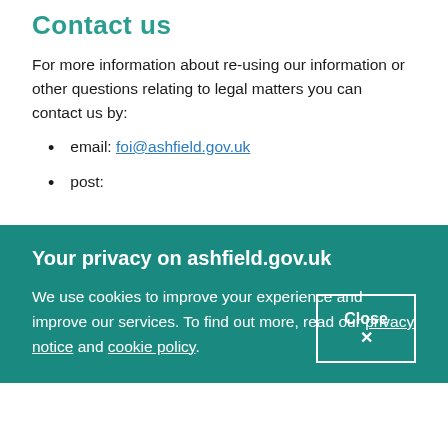Contact us
For more information about re-using our information or other questions relating to legal matters you can contact us by:
email: foi@ashfield.gov.uk
post:
Your privacy on ashfield.gov.uk
We use cookies to improve your experience and improve our services. To find out more, read our privacy notice and cookie policy.